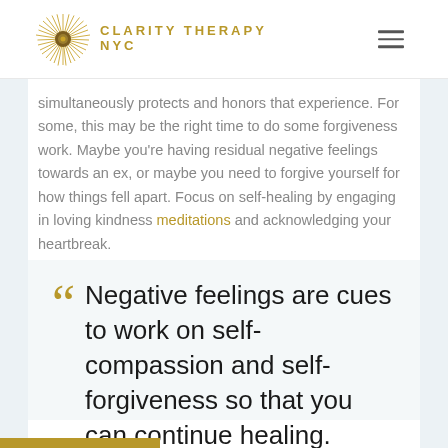CLARITY THERAPY NYC
simultaneously protects and honors that experience. For some, this may be the right time to do some forgiveness work. Maybe you’re having residual negative feelings towards an ex, or maybe you need to forgive yourself for how things fell apart. Focus on self-healing by engaging in loving kindness meditations and acknowledging your heartbreak.
“Negative feelings are cues to work on self-compassion and self-forgiveness so that you can continue healing.